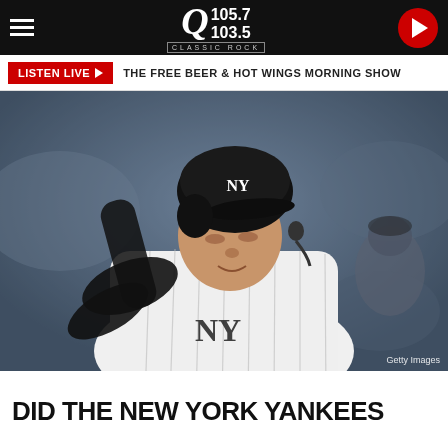Q 105.7 / 103.5 Classic Rock — navigation bar with hamburger menu and play button
LISTEN LIVE ▶  THE FREE BEER & HOT WINGS MORNING SHOW
[Figure (photo): New York Yankees baseball player in pinstripe uniform with NY logo, hand on helmet, appearing frustrated or disappointed. Photo credit: Getty Images]
Getty Images
DID THE NEW YORK YANKEES